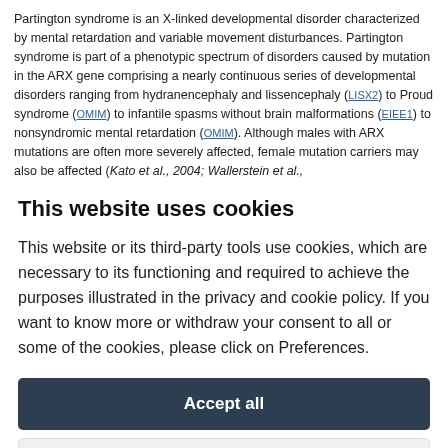Partington syndrome is an X-linked developmental disorder characterized by mental retardation and variable movement disturbances. Partington syndrome is part of a phenotypic spectrum of disorders caused by mutation in the ARX gene comprising a nearly continuous series of developmental disorders ranging from hydranencephaly and lissencephaly (LISX2) to Proud syndrome (OMIM) to infantile spasms without brain malformations (EIEE1) to nonsyndromic mental retardation (OMIM). Although males with ARX mutations are often more severely affected, female mutation carriers may also be affected (Kato et al., 2004; Wallerstein et al.,
This website uses cookies
This website or its third-party tools use cookies, which are necessary to its functioning and required to achieve the purposes illustrated in the privacy and cookie policy. If you want to know more or withdraw your consent to all or some of the cookies, please click on Preferences.
Accept all
Preferences